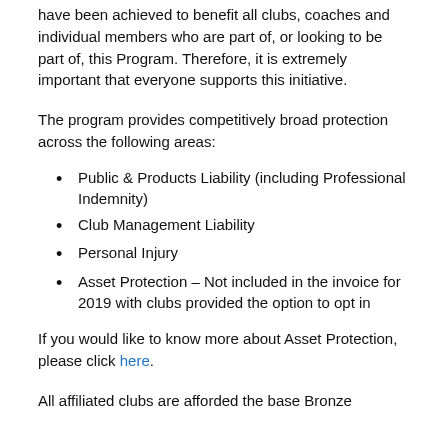have been achieved to benefit all clubs, coaches and individual members who are part of, or looking to be part of, this Program. Therefore, it is extremely important that everyone supports this initiative.
The program provides competitively broad protection across the following areas:
Public & Products Liability (including Professional Indemnity)
Club Management Liability
Personal Injury
Asset Protection – Not included in the invoice for 2019 with clubs provided the option to opt in
If you would like to know more about Asset Protection, please click here.
All affiliated clubs are afforded the base Bronze